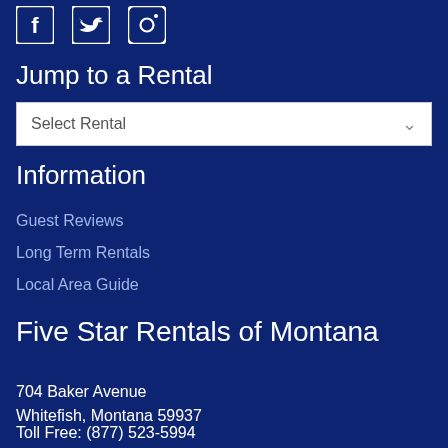[Figure (logo): Social media icons: Facebook, Twitter, Instagram (white outlines on dark blue background)]
Jump to a Rental
Select Rental
Information
Guest Reviews
Long Term Rentals
Local Area Guide
Five Star Rentals of Montana
704 Baker Avenue
Whitefish, Montana 59937
Toll Free: (877) 523-5994
Local: (406) 862-5994
Fax: (406) 862-0134